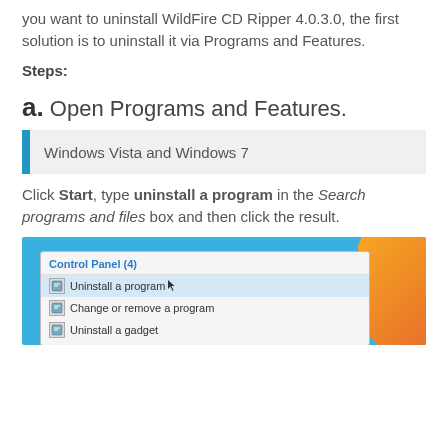you want to uninstall WildFire CD Ripper 4.0.3.0, the first solution is to uninstall it via Programs and Features.
Steps:
a. Open Programs and Features.
Windows Vista and Windows 7
Click Start, type uninstall a program in the Search programs and files box and then click the result.
[Figure (screenshot): Windows 7 Start menu search results showing Control Panel (4) with 'Uninstall a program' highlighted, 'Change or remove a program', and 'Uninstall a gadget' options visible.]